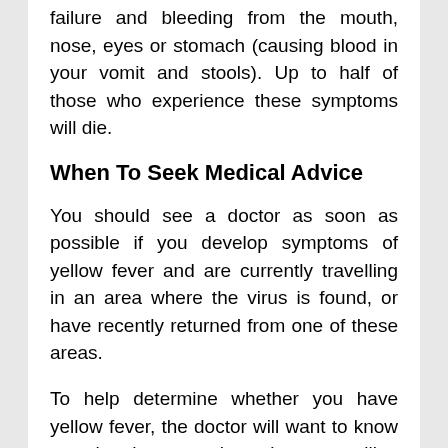failure and bleeding from the mouth, nose, eyes or stomach (causing blood in your vomit and stools). Up to half of those who experience these symptoms will die.
When To Seek Medical Advice
You should see a doctor as soon as possible if you develop symptoms of yellow fever and are currently travelling in an area where the virus is found, or have recently returned from one of these areas.
To help determine whether you have yellow fever, the doctor will want to know exactly where you have been travelling and what symptoms you have.